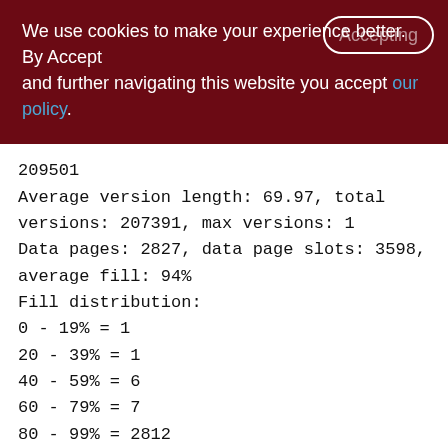We use cookies to make your experience better. By accepting and further navigating this website you accept our policy.
209501
Average version length: 69.97, total versions: 207391, max versions: 1
Data pages: 2827, data page slots: 3598, average fill: 94%
Fill distribution:
0 - 19% = 1
20 - 39% = 1
40 - 59% = 6
60 - 79% = 7
80 - 99% = 2812